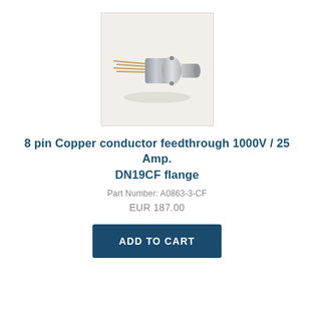[Figure (photo): Photo of an 8-pin copper conductor feedthrough component with cylindrical metal body and pins extending from one end, shown against a light gray/white background in a square image box.]
8 pin Copper conductor feedthrough 1000V / 25 Amp. DN19CF flange
Part Number: A0863-3-CF
EUR 187.00
ADD TO CART